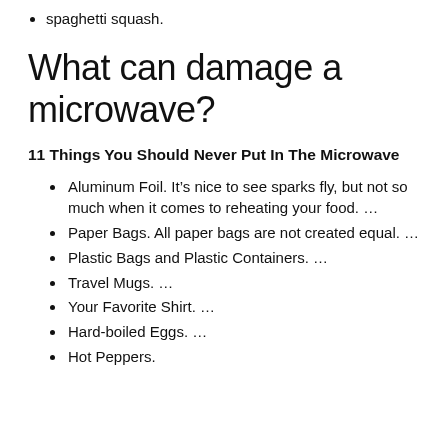spaghetti squash.
What can damage a microwave?
11 Things You Should Never Put In The Microwave
Aluminum Foil. It’s nice to see sparks fly, but not so much when it comes to reheating your food. …
Paper Bags. All paper bags are not created equal. …
Plastic Bags and Plastic Containers. …
Travel Mugs. …
Your Favorite Shirt. …
Hard-boiled Eggs. …
Hot Peppers.